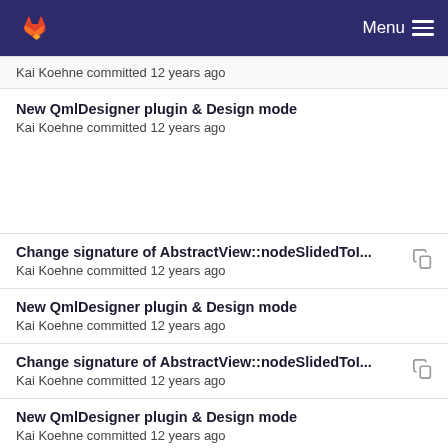GitLab — Menu
Kai Koehne committed 12 years ago
New QmlDesigner plugin & Design mode
Kai Koehne committed 12 years ago
Change signature of AbstractView::nodeSlidedToI...
Kai Koehne committed 12 years ago
New QmlDesigner plugin & Design mode
Kai Koehne committed 12 years ago
Change signature of AbstractView::nodeSlidedToI...
Kai Koehne committed 12 years ago
New QmlDesigner plugin & Design mode
Kai Koehne committed 12 years ago
Change signature of AbstractView::nodeSlidedToI...
Kai Koehne committed 12 years ago